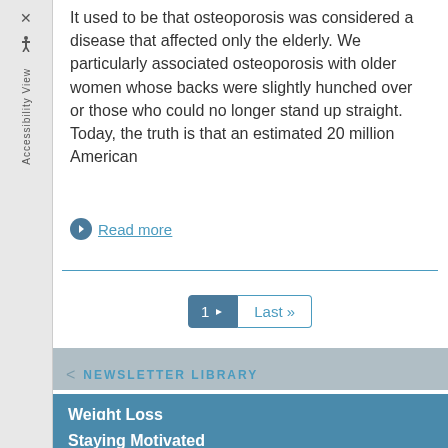It used to be that osteoporosis was considered a disease that affected only the elderly. We particularly associated osteoporosis with older women whose backs were slightly hunched over or those who could no longer stand up straight. Today, the truth is that an estimated 20 million American
Read more
1  Last >>
NEWSLETTER LIBRARY
Weight Loss
Staying Motivated
Staying Young